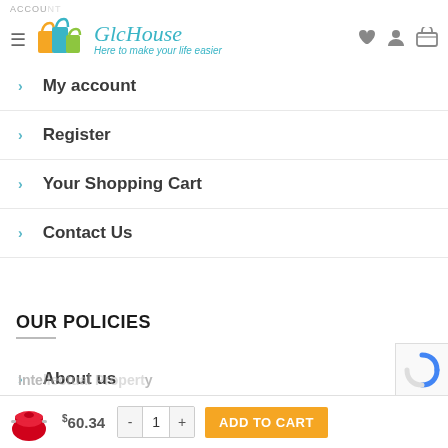[Figure (logo): GlcHouse logo with shopping bags icon and tagline 'Here to make your life easier']
My account
Register
Your Shopping Cart
Contact Us
OUR POLICIES
About us
Terms and conditions
Intellectual Property
$60.34  -  1  +  ADD TO CART